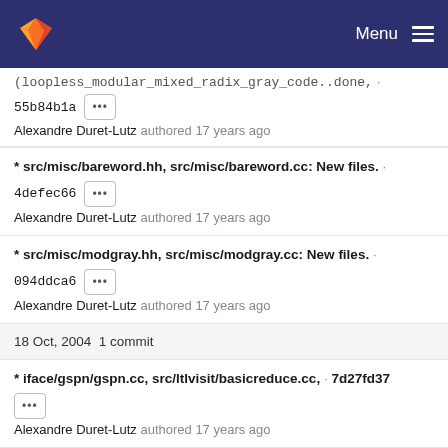GitLab — Menu
(loopless_modular_mixed_radix_gray_code..done, · 55b84b1a ··· Alexandre Duret-Lutz authored 17 years ago
* src/misc/bareword.hh, src/misc/bareword.cc: New files. · 4defec66 ··· Alexandre Duret-Lutz authored 17 years ago
* src/misc/modgray.hh, src/misc/modgray.cc: New files. · 094ddca6 ··· Alexandre Duret-Lutz authored 17 years ago
18 Oct, 2004 1 commit
* iface/gspn/gspn.cc, src/ltlvisit/basicreduce.cc, · 7d27fd37 ··· Alexandre Duret-Lutz authored 17 years ago
15 Oct, 2004 2 commits
* src/tgbaalgos/gtec/ce.cc: Reinstall change from 2004-09...